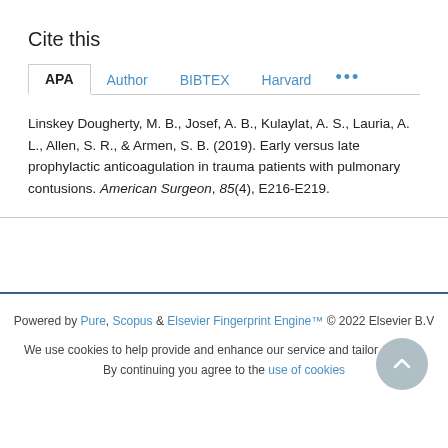Cite this
APA   Author   BIBTEX   Harvard   ...
Linskey Dougherty, M. B., Josef, A. B., Kulaylat, A. S., Lauria, A. L., Allen, S. R., & Armen, S. B. (2019). Early versus late prophylactic anticoagulation in trauma patients with pulmonary contusions. American Surgeon, 85(4), E216-E219.
Powered by Pure, Scopus & Elsevier Fingerprint Engine™ © 2022 Elsevier B.V
We use cookies to help provide and enhance our service and tailor content. By continuing you agree to the use of cookies